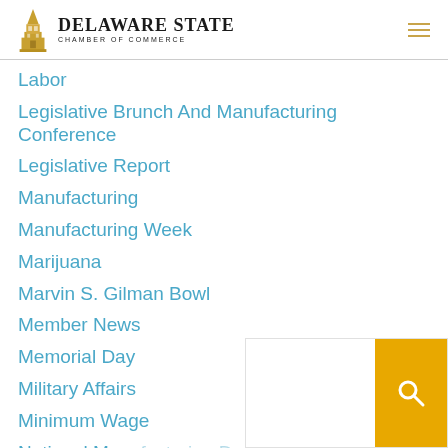Delaware State Chamber of Commerce
Labor
Legislative Brunch And Manufacturing Conference
Legislative Report
Manufacturing
Manufacturing Week
Marijuana
Marvin S. Gilman Bowl
Member News
Memorial Day
Military Affairs
Minimum Wage
National Manufacturing Day
Natural Resources